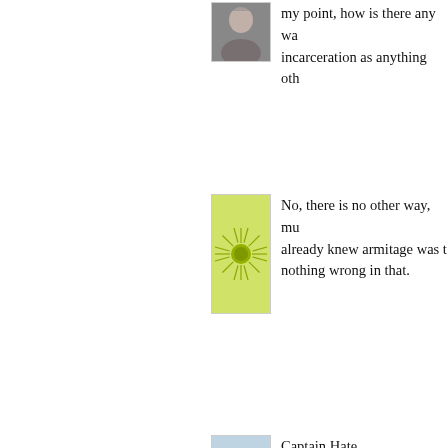[Figure (photo): Person photo avatar, partially cropped at top of page]
my point, how is there any wa... incarceration as anything oth...
[Figure (illustration): Green sun/starburst avatar icon]
No, there is no other way, mu... already knew armitage was t... nothing wrong in that.
[Figure (illustration): Abstract overlapping circles/lines avatar icon on light blue background]
Captain Hate,

I don't really see it any other... done for his protection, but I t... complaints of his attorneys.

Hopefully, this all will come to... revealed for what he is.
Posted by: Mi...
[Figure (photo): Red X road sign avatar icon]
Good morning again!! 😎

Just caught up reading the e...